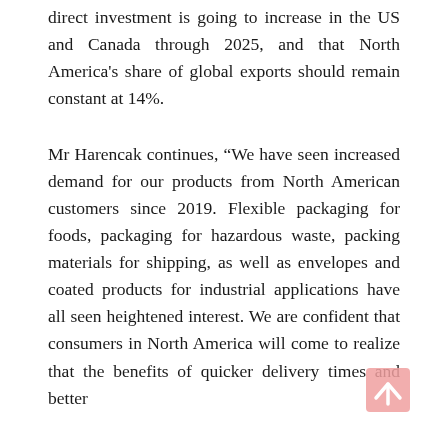direct investment is going to increase in the US and Canada through 2025, and that North America's share of global exports should remain constant at 14%.
Mr Harencak continues, “We have seen increased demand for our products from North American customers since 2019. Flexible packaging for foods, packaging for hazardous waste, packing materials for shipping, as well as envelopes and coated products for industrial applications have all seen heightened interest. We are confident that consumers in North America will come to realize that the benefits of quicker delivery times and better